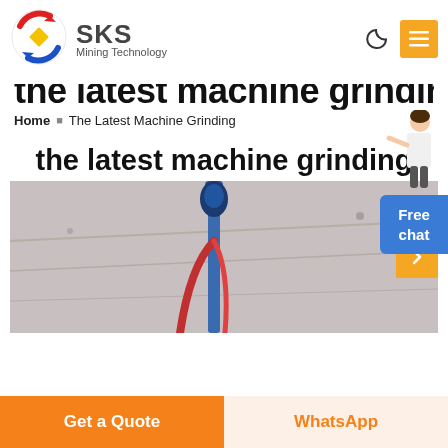[Figure (logo): SKS Mining Technology logo with circular arrow design in red, blue, yellow]
SKS Mining Technology
the latest machine grinding
Home » The Latest Machine Grinding
the latest machine grinding
[Figure (photo): Industrial grinding machine photograph taken from below, showing a blue vertical shaft or arm against a warehouse ceiling]
Get a Quote
WhatsApp